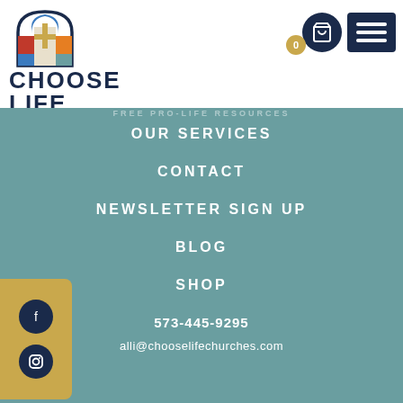[Figure (logo): Choose Life Churches logo with stained glass arch and cross icon above bold text CHOOSE LIFE and subtitle CHURCHES]
[Figure (other): Shopping cart icon with 0 badge and hamburger menu icon in dark navy blue]
FREE PRO-LIFE RESOURCES
OUR SERVICES
CONTACT
NEWSLETTER SIGN UP
BLOG
SHOP
573-445-9295
alli@chooselifechurches.com
[Figure (other): Facebook and Instagram social media icons in dark navy circles on a tan/gold rounded rectangle background]